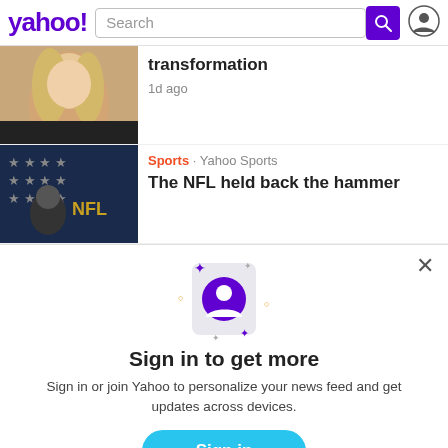yahoo! Search
[Figure (photo): Cropped photo of a blonde woman]
transformation
1d ago
[Figure (photo): Person at an NFL event with stars in the background]
Sports · Yahoo Sports
The NFL held back the hammer
[Figure (illustration): Sign in modal with phone icon showing user avatar, sparkle decorations, Sign in to get more heading, description text, Sign in button, Sign up link]
Sign in to get more
Sign in or join Yahoo to personalize your news feed and get updates across devices.
Sign in
Sign up